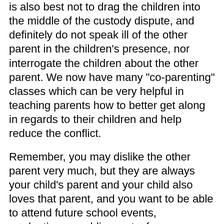is also best not to drag the children into the middle of the custody dispute, and definitely do not speak ill of the other parent in the children's presence, nor interrogate the children about the other parent. We now have many "co-parenting" classes which can be very helpful in teaching parents how to better get along in regards to their children and help reduce the conflict.
Remember, you may dislike the other parent very much, but they are always your child's parent and your child also loves that parent, and you want to be able to attend future school events, graduations, weddings, etc. for your children without conflict, so it is best to try hard to get along with your child's other parent.
Will I Get or have to Pay Child Support?
California laws provide that child support shall